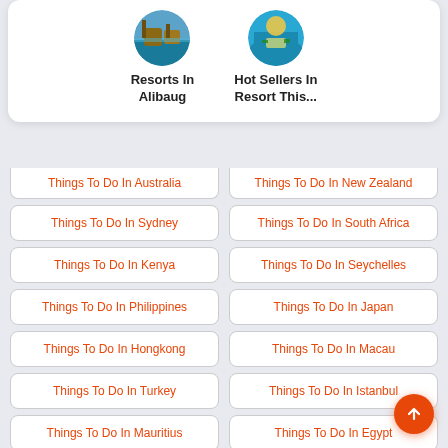[Figure (illustration): Circular thumbnail image of overwater bungalow resort]
Resorts In Alibaug
[Figure (illustration): Circular thumbnail image of tropical beach resort]
Hot Sellers In Resort This...
Things To Do In Australia
Things To Do In New Zealand
Things To Do In Sydney
Things To Do In South Africa
Things To Do In Kenya
Things To Do In Seychelles
Things To Do In Philippines
Things To Do In Japan
Things To Do In Hongkong
Things To Do In Macau
Things To Do In Turkey
Things To Do In Istanbul
Things To Do In Mauritius
Things To Do In Egypt
Things To Do In Canada
Things To Do In Budapest
Things To Do In Europe
Things To Do In Switzerland